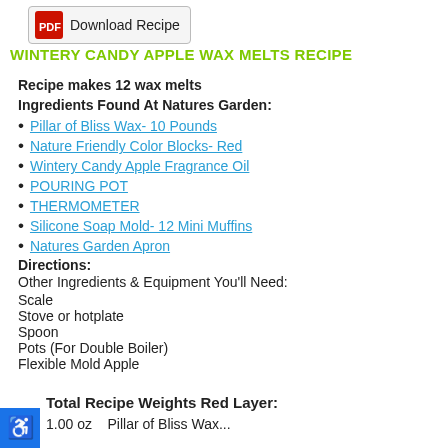[Figure (other): Download Recipe button with red Adobe PDF icon]
WINTERY CANDY APPLE WAX MELTS RECIPE
Recipe makes 12 wax melts
Ingredients Found At Natures Garden:
Pillar of Bliss Wax- 10 Pounds
Nature Friendly Color Blocks- Red
Wintery Candy Apple Fragrance Oil
POURING POT
THERMOMETER
Silicone Soap Mold- 12 Mini Muffins
Natures Garden Apron
Directions:
Other Ingredients & Equipment You'll Need:
Scale
Stove or hotplate
Spoon
Pots (For Double Boiler)
Flexible Mold Apple
Total Recipe Weights Red Layer:
1.00 oz    Pillar of Bliss Wax...